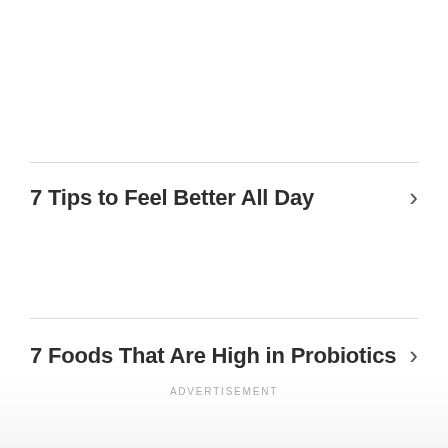7 Tips to Feel Better All Day
7 Foods That Are High in Probiotics
ADVERTISEMENT